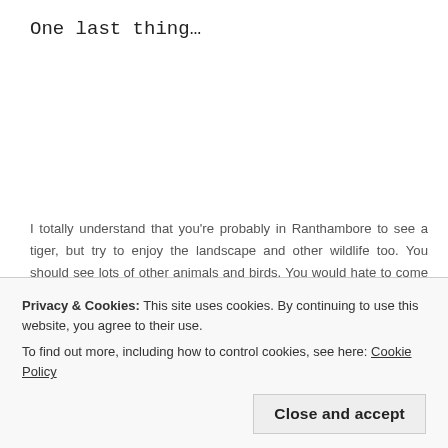One last thing…
I totally understand that you're probably in Ranthambore to see a tiger, but try to enjoy the landscape and other wildlife too. You should see lots of other animals and birds. You would hate to come away disappointed that you didn't see a tiger having forgotten about all of the other wonderful things you did see. Enjoy the experience, and a tiger is the jewel in the Ranthambore experience.
[Figure (photo): Two side-by-side photo thumbnails showing lush green forested landscape, partially visible at the bottom of the page]
Privacy & Cookies: This site uses cookies. By continuing to use this website, you agree to their use.
To find out more, including how to control cookies, see here: Cookie Policy
Close and accept